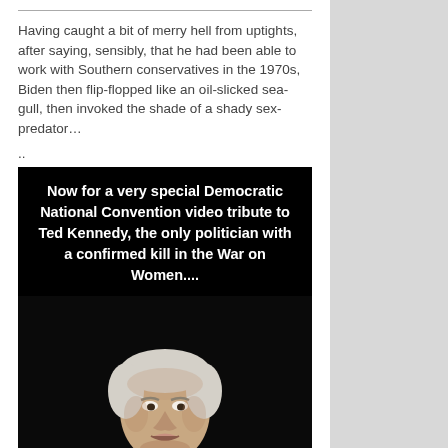Having caught a bit of merry hell from uptights, after saying, sensibly, that he had been able to work with Southern conservatives in the 1970s, Biden then flip-flopped like an oil-slicked sea-gull, then invoked the shade of a shady sex-predator…
..
[Figure (photo): A meme image with black background. White bold text reads: 'Now for a very special Democratic National Convention video tribute to Ted Kennedy, the only politician with a confirmed kill in the War on Women....' Below the text is a photo of an older white-haired man in a suit speaking.]